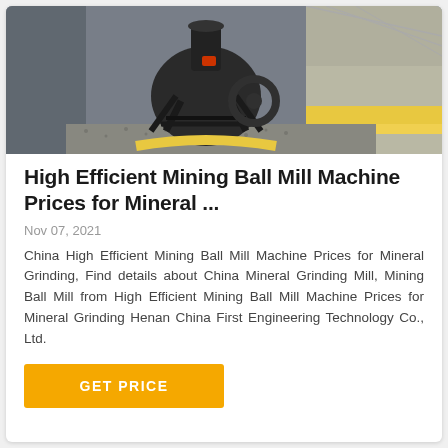[Figure (photo): Industrial ball mill machine photographed in a large manufacturing facility. A large dark metal cylindrical grinding machine with support frame sits on gravel floor. Background shows factory interior with overhead lighting.]
High Efficient Mining Ball Mill Machine Prices for Mineral ...
Nov 07, 2021
China High Efficient Mining Ball Mill Machine Prices for Mineral Grinding, Find details about China Mineral Grinding Mill, Mining Ball Mill from High Efficient Mining Ball Mill Machine Prices for Mineral Grinding Henan China First Engineering Technology Co., Ltd.
GET PRICE